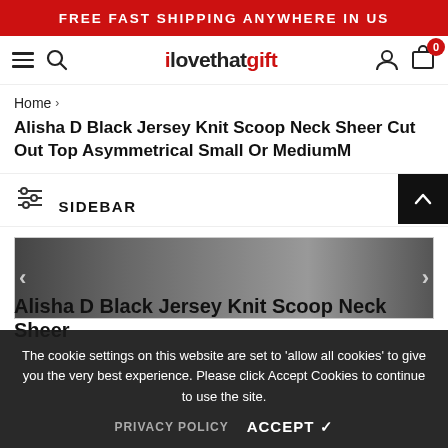FREE FAST SHIPPING ANYWHERE IN US
[Figure (logo): ilovethatgift website navigation header with hamburger menu, search icon, logo, user icon, and cart icon showing 0 items]
Home >
Alisha D Black Jersey Knit Scoop Neck Sheer Cut Out Top Asymmetrical Small Or MediumM
SIDEBAR
[Figure (photo): Product photo of Alisha D Black Jersey Knit Scoop Neck Sheer Cut Out Top Asymmetrical]
The cookie settings on this website are set to 'allow all cookies' to give you the very best experience. Please click Accept Cookies to continue to use the site.
PRIVACY POLICY   ACCEPT ✓
Alisha D Black Jersey Knit Scoop Neck Sheer